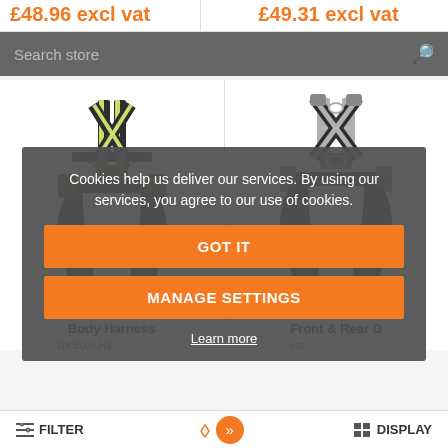£48.96 excl vat
£49.31 excl vat
Search store
[Figure (photo): Green and black safety body harness (Kratos FA 10 104 00 Body Harness)]
[Figure (photo): Grey and black safety body harness with front and rear D-rings (Ridgegear RGH2 Front & Rear D)]
Kratos FA 10 104 00 Body Harness
2pt Body Ha... Type: General Fall Arrest
Ridgegear RGH2 Front & Rear D
...ess Type: General Fall Arrest
Cookies help us deliver our services. By using our services, you agree to our use of cookies.
GOT IT
MANAGE SETTINGS
Learn more
FILTER
DISPLAY